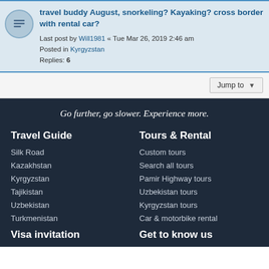travel buddy August, snorkeling? Kayaking? cross border with rental car?
Last post by Will1981 « Tue Mar 26, 2019 2:46 am
Posted in Kyrgyzstan
Replies: 6
Jump to
Go further, go slower. Experience more.
Travel Guide
Silk Road
Kazakhstan
Kyrgyzstan
Tajikistan
Uzbekistan
Turkmenistan
Visa invitation
Tours & Rental
Custom tours
Search all tours
Pamir Highway tours
Uzbekistan tours
Kyrgyzstan tours
Car & motorbike rental
Get to know us